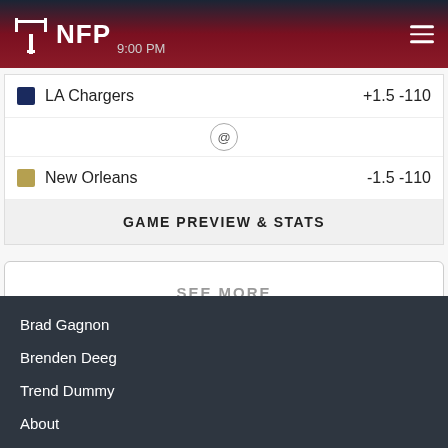NFP — 9:00 PM
LA Chargers +1.5 -110
@
New Orleans -1.5 -110
GAME PREVIEW & STATS
SEE MORE
Brad Gagnon
Brenden Deeg
Trend Dummy
About